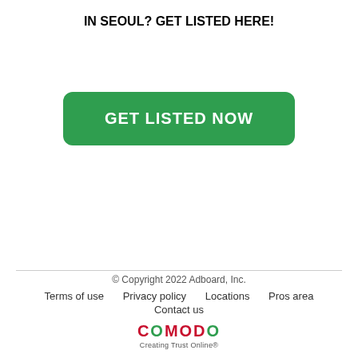IN SEOUL?
GET LISTED HERE!
[Figure (other): Green rounded rectangle button with white bold text reading GET LISTED NOW]
© Copyright 2022 Adboard, Inc.
Terms of use   Privacy policy   Locations   Pros area   Contact us
COMODO Creating Trust Online®